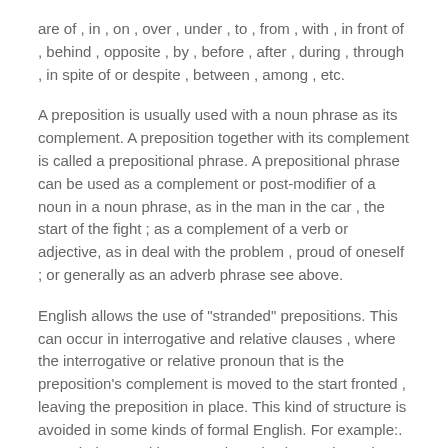are of , in , on , over , under , to , from , with , in front of , behind , opposite , by , before , after , during , through , in spite of or despite , between , among , etc.
A preposition is usually used with a noun phrase as its complement. A preposition together with its complement is called a prepositional phrase. A prepositional phrase can be used as a complement or post-modifier of a noun in a noun phrase, as in the man in the car , the start of the fight ; as a complement of a verb or adjective, as in deal with the problem , proud of oneself ; or generally as an adverb phrase see above.
English allows the use of "stranded" prepositions. This can occur in interrogative and relative clauses , where the interrogative or relative pronoun that is the preposition's complement is moved to the start fronted , leaving the preposition in place. This kind of structure is avoided in some kinds of formal English. For example:. Stranded prepositions can also arise in passive voice constructions and other uses of passive past participial phrases , where the complement in a prepositional phrase can become zero in the same way that a verb's